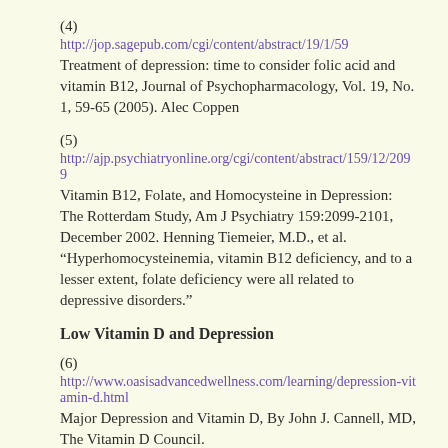(4)
http://jop.sagepub.com/cgi/content/abstract/19/1/59
Treatment of depression: time to consider folic acid and vitamin B12, Journal of Psychopharmacology, Vol. 19, No. 1, 59-65 (2005). Alec Coppen
(5)
http://ajp.psychiatryonline.org/cgi/content/abstract/159/12/2099
Vitamin B12, Folate, and Homocysteine in Depression: The Rotterdam Study, Am J Psychiatry 159:2099-2101, December 2002. Henning Tiemeier, M.D., et al.
“Hyperhomocysteinemia, vitamin B12 deficiency, and to a lesser extent, folate deficiency were all related to depressive disorders.”
Low Vitamin D and Depression
(6)
http://www.oasisadvancedwellness.com/learning/depression-vitamin-d.html
Major Depression and Vitamin D, By John J. Cannell, MD, The Vitamin D Council.